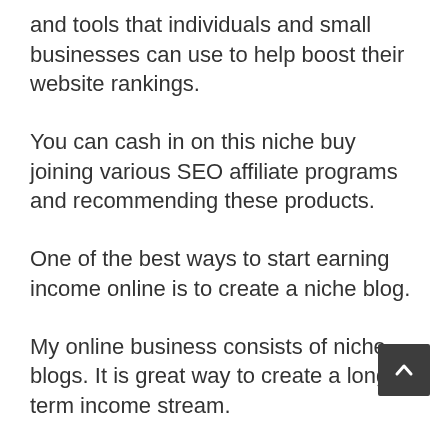and tools that individuals and small businesses can use to help boost their website rankings.
You can cash in on this niche buy joining various SEO affiliate programs and recommending these products.
One of the best ways to start earning income online is to create a niche blog.
My online business consists of niche blogs. It is great way to create a long-term income stream.
If you are ready to level up your affiliate earnings, consider following the same